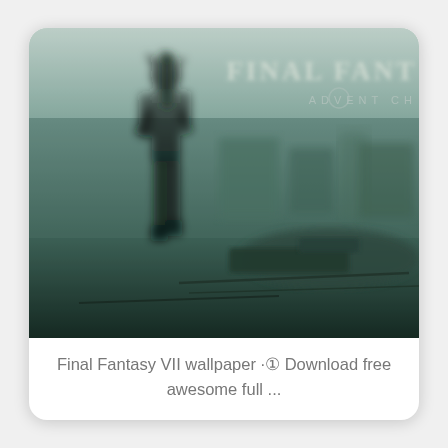[Figure (illustration): Final Fantasy VII Advent Children wallpaper showing a blurred silhouette of a character (Cloud Strife) from behind, standing with a large sword in a desolate landscape. The scene is rendered in muted blue-green tones with horizontal scan lines. The FINAL FANTASY ADVENT CHILDREN logo appears in the upper right corner. The background features destroyed buildings and rubble.]
Final Fantasy VII wallpaper ·① Download free awesome full ...